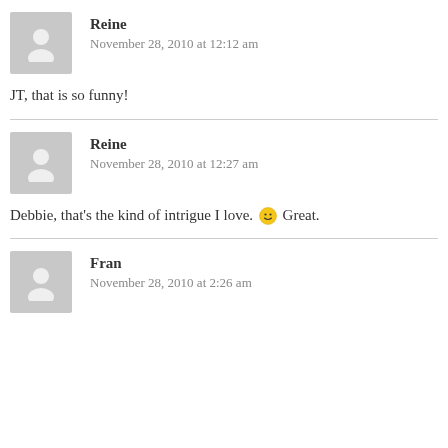Reine
November 28, 2010 at 12:12 am
JT, that is so funny!
Reine
November 28, 2010 at 12:27 am
Debbie, that's the kind of intrigue I love. 🙂 Great.
Fran
November 28, 2010 at 2:26 am